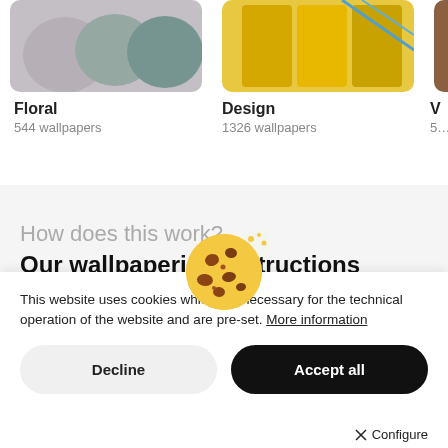[Figure (photo): Photo of decorative pillows (floral/textured) — top-left thumbnail]
Floral
544 wallpapers
[Figure (photo): Photo of yellow/mustard clothing on hangers — center thumbnail]
Design
1326 wallpapers
[Figure (photo): Partially visible thumbnail on far right — V category]
V
5…
How does this work?
Our wallpapering instructions
[Figure (illustration): Cookie emoji illustration]
This website uses cookies which are necessary for the technical operation of the website and are pre-set. More information
Decline
Accept all
Configure